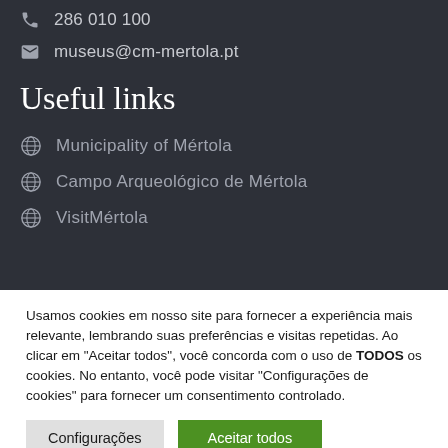286 010 100
museus@cm-mertola.pt
Useful links
Municipality of Mértola
Campo Arqueológico de Mértola
VisitMértola
Usamos cookies em nosso site para fornecer a experiência mais relevante, lembrando suas preferências e visitas repetidas. Ao clicar em "Aceitar todos", você concorda com o uso de TODOS os cookies. No entanto, você pode visitar "Configurações de cookies" para fornecer um consentimento controlado.
Configurações
Aceitar todos